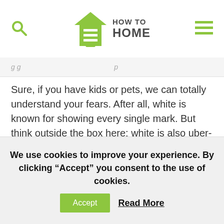HOW TO HOME
Sure, if you have kids or pets, we can totally understand your fears. After all, white is known for showing every single mark. But think outside the box here: white is also uber-easy to maintain. Simply bleach it and the brightness will return; unlike multi-colored or patterned pieces, it won't get destroyed in the process.
Another great thing about this trend is that it's easy
We use cookies to improve your experience. By clicking “Accept” you consent to the use of cookies.